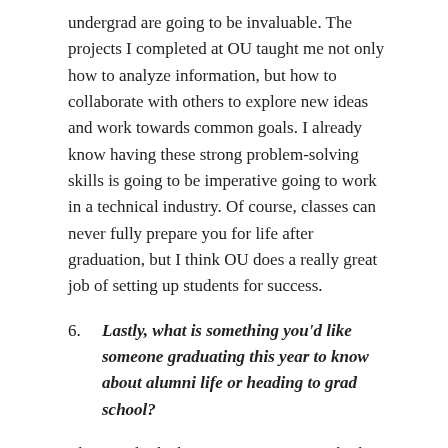undergrad are going to be invaluable. The projects I completed at OU taught me not only how to analyze information, but how to collaborate with others to explore new ideas and work towards common goals. I already know having these strong problem-solving skills is going to be imperative going to work in a technical industry. Of course, classes can never fully prepare you for life after graduation, but I think OU does a really great job of setting up students for success.
6. Lastly, what is something you'd like someone graduating this year to know about alumni life or heading to grad school?
This is only the beginning! It's easy to think that your future is set in stone based on what you do right out of college, but this couldn't be further from the truth. People our age worry so much about making it to the next step in life that they miss out on what's happening in their lives right now.  Work hard, set goals and make smart decisions for your future, but don't forget to take a step back sometimes to focus on enjoying the